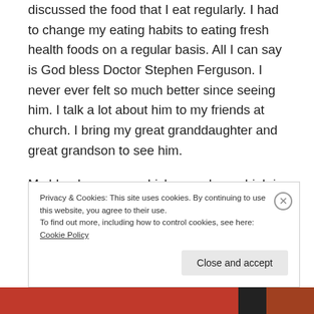discussed the food that I eat regularly. I had to change my eating habits to eating fresh health foods on a regular basis. All I can say is God bless Doctor Stephen Ferguson. I never ever felt so much better since seeing him. I talk a lot about him to my friends at church. I bring my great granddaughter and great grandson to see him.
My blood pressure which was always high in the past, reduced in just two weeks. I was insulin and tablet dependent for my diabetes which was difficult to control. In two and a half feels. I am off
Privacy & Cookies: This site uses cookies. By continuing to use this website, you agree to their use.
To find out more, including how to control cookies, see here: Cookie Policy